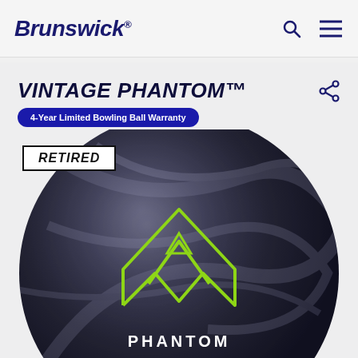Brunswick®
VINTAGE PHANTOM™
4-Year Limited Bowling Ball Warranty
RETIRED
[Figure (photo): Brunswick Vintage Phantom bowling ball, dark charcoal/black color with swirl finish, featuring the Phantom logo (geometric mountain/chevron design in lime green) and PHANTOM text in white. A 'RETIRED' label overlay is shown on the upper left of the ball.]